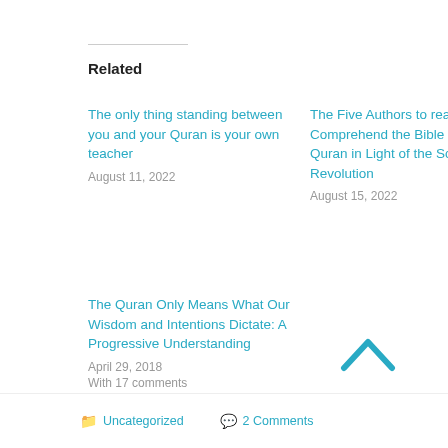Related
The only thing standing between you and your Quran is your own teacher
August 11, 2022
The Five Authors to read in Order to Comprehend the Bible and the Quran in Light of the Scientific Revolution
August 15, 2022
The Quran Only Means What Our Wisdom and Intentions Dictate: A Progressive Understanding
April 29, 2018
With 17 comments
Uncategorized   2 Comments